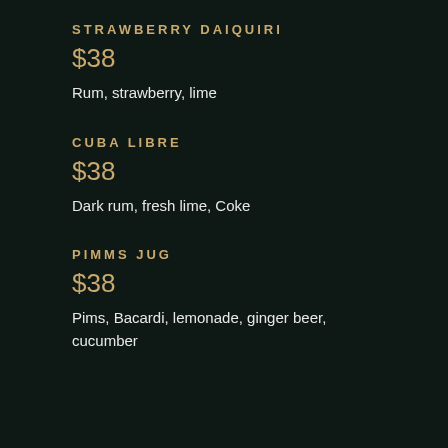STRAWBERRY DAIQUIRI
$38
Rum, strawberry, lime
CUBA LIBRE
$38
Dark rum, fresh lime, Coke
PIMMS JUG
$38
Pims, Bacardi, lemonade, ginger beer, cucumber